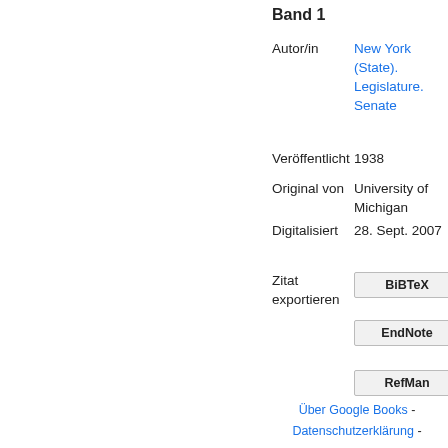Band 1
Autor/in
New York (State). Legislature. Senate
Veröffentlicht
1938
Original von
University of Michigan
Digitalisiert
28. Sept. 2007
Zitat exportieren
BiBTeX
EndNote
RefMan
Über Google Books - Datenschutzerklärung -